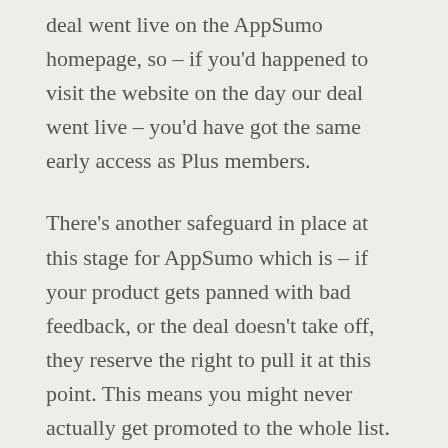deal went live on the AppSumo homepage, so – if you'd happened to visit the website on the day our deal went live – you'd have got the same early access as Plus members.
There's another safeguard in place at this stage for AppSumo which is – if your product gets panned with bad feedback, or the deal doesn't take off, they reserve the right to pull it at this point. This means you might never actually get promoted to the whole list. Again, though, while this sounds like a threat, it's a real motivation to give great support and take pride in the product. It's all about AppSumo's barrier to entry which